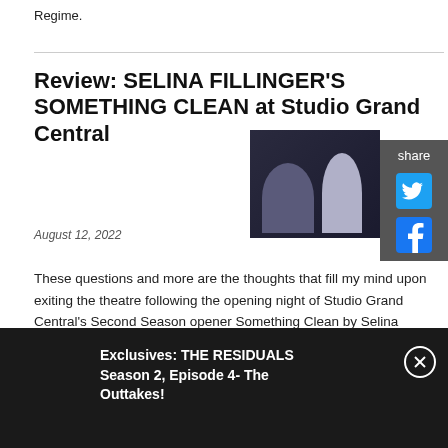Regime.
Review: SELINA FILLINGER'S SOMETHING CLEAN at Studio Grand Central
August 12, 2022
[Figure (photo): Two actors on stage, one seated and one standing, against a dark background]
These questions and more are the thoughts that fill my mind upon exiting the theatre following the opening night of Studio Grand Central's Second Season opener Something Clean by Selina Fillinger. Fillinger whose more recent Potus is a smashing success on Broadway; penned this three-hander piece about a grieving mother who also is struggling with love and culpability. Her own struggle with intimacy is backlogged by trauma and has come to a crippling head not just on her inner self but on her marriage as well.
Exclusives: THE RESIDUALS Season 2, Episode 4- The Outtakes!